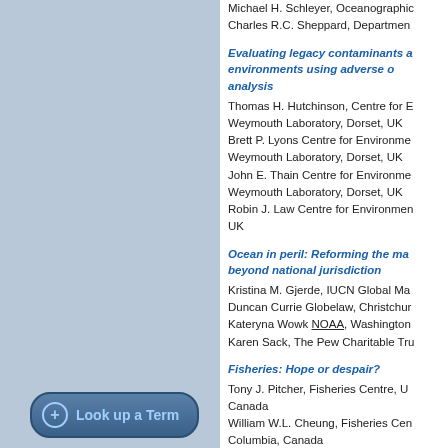Michael H. Schleyer, Oceanographic... Charles R.C. Sheppard, Department...
Evaluating legacy contaminants a... environments using adverse o... analysis
Thomas H. Hutchinson, Centre for E... Weymouth Laboratory, Dorset, UK Brett P. Lyons Centre for Environme... Weymouth Laboratory, Dorset, UK John E. Thain Centre for Environme... Weymouth Laboratory, Dorset, UK Robin J. Law Centre for Environmen... UK
Ocean in peril: Reforming the ma... beyond national jurisdiction
Kristina M. Gjerde, IUCN Global Ma... Duncan Currie Globelaw, Christchur... Kateryna Wowk NOAA, Washington... Karen Sack, The Pew Charitable Tru...
Fisheries: Hope or despair?
Tony J. Pitcher, Fisheries Centre, U... Canada William W.L. Cheung, Fisheries Cen... Columbia, Canada
Look up a Term